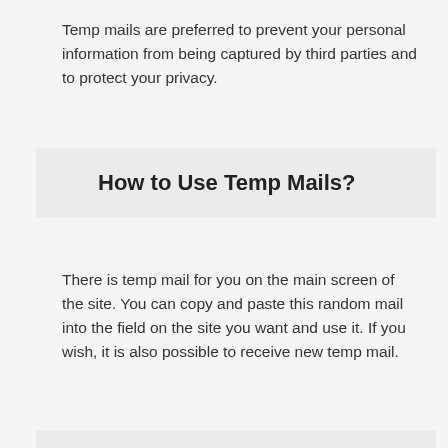Temp mails are preferred to prevent your personal information from being captured by third parties and to protect your privacy.
How to Use Temp Mails?
There is temp mail for you on the main screen of the site. You can copy and paste this random mail into the field on the site you want and use it. If you wish, it is also possible to receive new temp mail.